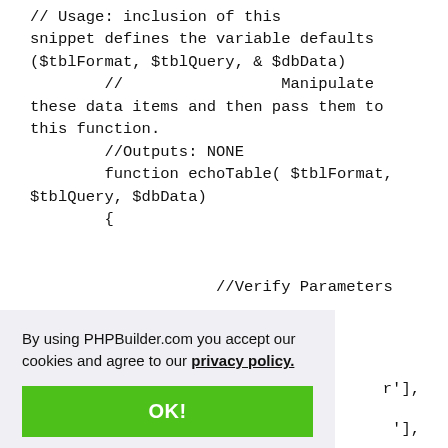// Usage: inclusion of this snippet defines the variable defaults ($tblFormat, $tblQuery, & $dbData)
        //                 Manipulate these data items and then pass them to this function.
        //Outputs: NONE
        function echoTable( $tblFormat, $tblQuery, $dbData)
        {


                    //Verify Parameters
                    ///////////////////////
By using PHPBuilder.com you accept our cookies and agree to our privacy policy.
OK!
r'],

'],
!doso)==0)